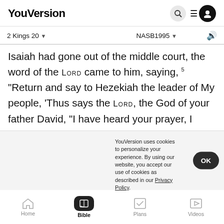YouVersion
2 Kings 20   NASB1995
Isaiah had gone out of the middle court, the word of the Lord came to him, saying, 5 "Return and say to Hezekiah the leader of My people, 'Thus says the Lord, the God of your father David, "I have heard your prayer, I have seen your tears; behold, I will heal you. On the third day you shall go u[p to the house of the Lord] 6 [and I will add fifteen years to your life... and I will deliver you and this city from the hand...]
YouVersion uses cookies to personalize your experience. By using our website, you accept our use of cookies as described in our Privacy Policy.
Home   Bible   Plans   Videos